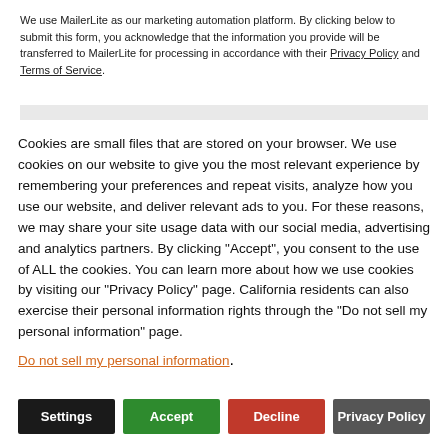We use MailerLite as our marketing automation platform. By clicking below to submit this form, you acknowledge that the information you provide will be transferred to MailerLite for processing in accordance with their Privacy Policy and Terms of Service.
Cookies are small files that are stored on your browser. We use cookies on our website to give you the most relevant experience by remembering your preferences and repeat visits, analyze how you use our website, and deliver relevant ads to you. For these reasons, we may share your site usage data with our social media, advertising and analytics partners. By clicking "Accept", you consent to the use of ALL the cookies. You can learn more about how we use cookies by visiting our "Privacy Policy" page. California residents can also exercise their personal information rights through the "Do not sell my personal information" page.
Do not sell my personal information.